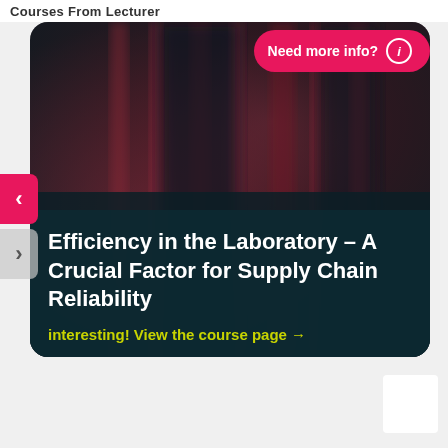Courses From Lecturer
Need more info? ⓘ
[Figure (photo): Blurred dark background image showing a person or fabric in dark reddish and dark tones, used as card background]
Efficiency in the Laboratory – A Crucial Factor for Supply Chain Reliability
interesting! View the course page →